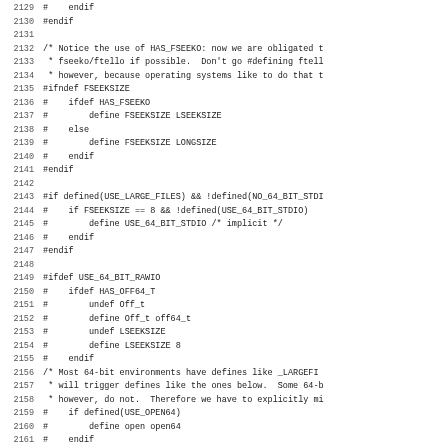[Figure (other): Source code listing in monospace font with line numbers 2129-2161, showing C preprocessor directives related to file seek size, 64-bit STDIO, and 64-bit raw I/O definitions]